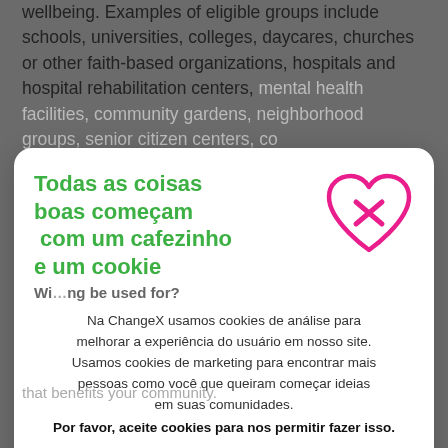wellbeing. Examples of eligible groups include schools, universities, colleges, daycares, churches or other faith-based organizations, hospitals and hospital rehabilitation centers, mental health facilities, community gardens, neighborhood groups, senior citizen centers, co... recognized go... e... Wi...ng be used for?
[Figure (illustration): Cookie consent overlay dialog with green text title 'Todas as coisas boas começam com um cafezinho e um cookie', pink heart icon with X, cookie consent body text in Portuguese, bold warning, and green accept button]
Todas as coisas boas começam com um cafezinho e um cookie
Na ChangeX usamos cookies de análise para melhorar a experiência do usuário em nosso site. Usamos cookies de marketing para encontrar mais pessoas como você que queiram começar ideias em suas comunidades.
Por favor, aceite cookies para nos permitir fazer isso.
Eu aceito cookies